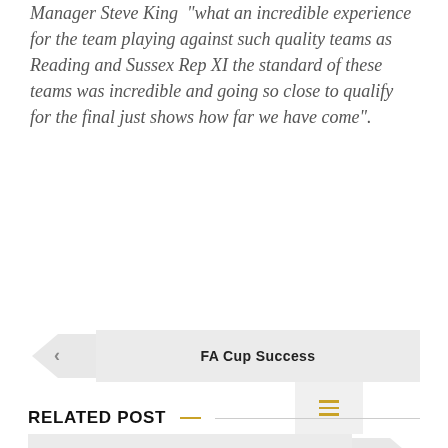Manager Steve King  "what an incredible experience for the team playing against such quality teams as Reading and Sussex Rep XI the standard of these teams was incredible and going so close to qualify for the final just shows how far we have come".
[Figure (other): Navigation widget with back arrow chevron, 'FA Cup Success' label button, hamburger menu icon in center box, 'Almost Half a Century Later' label button, and forward arrow chevron]
RELATED POST